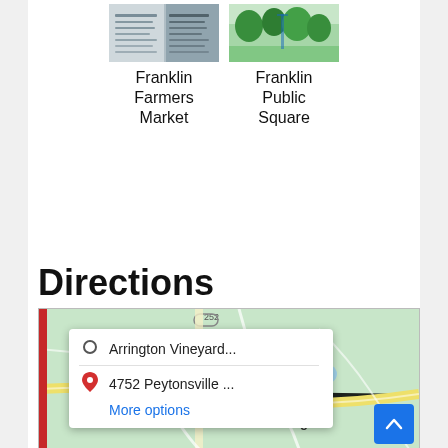[Figure (photo): Thumbnail image of Franklin Farmers Market signage]
Franklin Farmers Market
[Figure (photo): Thumbnail image of Franklin Public Square with trees and green scenery]
Franklin Public Square
Directions
[Figure (map): Google Maps screenshot showing directions from Arrington Vineyards to 4752 Peytonsville, with a popup showing route options and More options link. Map shows Arrington area with road network.]